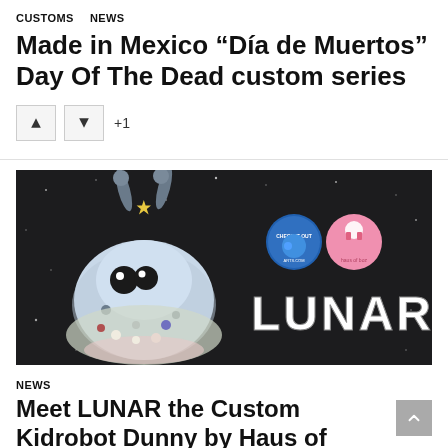CUSTOMS   NEWS
Made in Mexico “Día de Muertos” Day Of The Dead custom series
+1
[Figure (photo): A custom toy figure (Dunny) decorated in a Day of the Dead style, with antennae, a star, blue/white fuzzy body with spots, against a dark background. Text reads LUNAR with two circular logos.]
NEWS
Meet LUNAR the Custom Kidrobot Dunny by Haus of Boz!